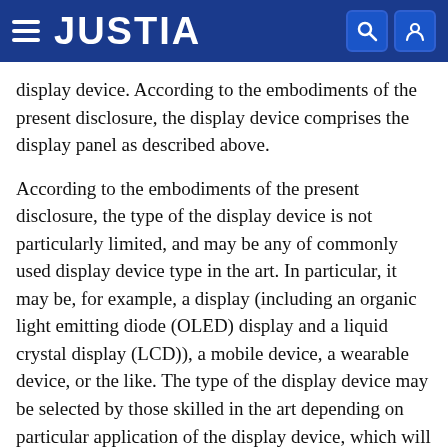JUSTIA
display device. According to the embodiments of the present disclosure, the display device comprises the display panel as described above.
According to the embodiments of the present disclosure, the type of the display device is not particularly limited, and may be any of commonly used display device type in the art. In particular, it may be, for example, a display (including an organic light emitting diode (OLED) display and a liquid crystal display (LCD)), a mobile device, a wearable device, or the like. The type of the display device may be selected by those skilled in the art depending on particular application of the display device, which will not be reiterated here. It should be noted that in addition to the display panel, the display device further comprises other essential parts and components. By taking a display as an example, the